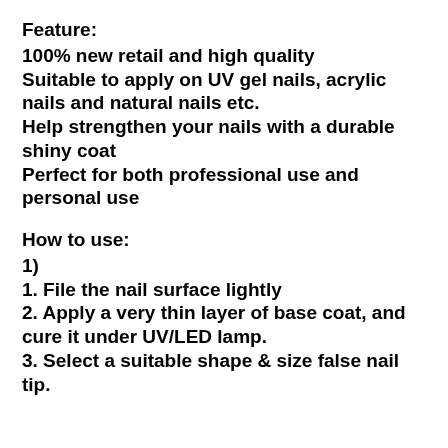Feature:
100% new retail and high quality
Suitable to apply on UV gel nails, acrylic nails and natural nails etc.
Help strengthen your nails with a durable shiny coat
Perfect for both professional use and personal use
How to use:
1)
1. File the nail surface lightly
2. Apply a very thin layer of base coat, and cure it under UV/LED lamp.
3. Select a suitable shape & size false nail tip.